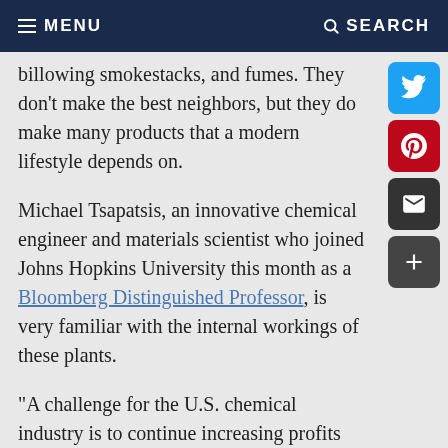MENU  SEARCH
billowing smokestacks, and fumes. They don't make the best neighbors, but they do make many products that a modern lifestyle depends on.
Michael Tsapatsis, an innovative chemical engineer and materials scientist who joined Johns Hopkins University this month as a Bloomberg Distinguished Professor, is very familiar with the internal workings of these plants.
"A challenge for the U.S. chemical industry is to continue increasing profits while improving safety and reducing its environmental impact," Tsapatsis says. "My group is advancing the frontier of designing new materials that can produce more of the desirable products with less waste, carbon footprint, and energy consumption."